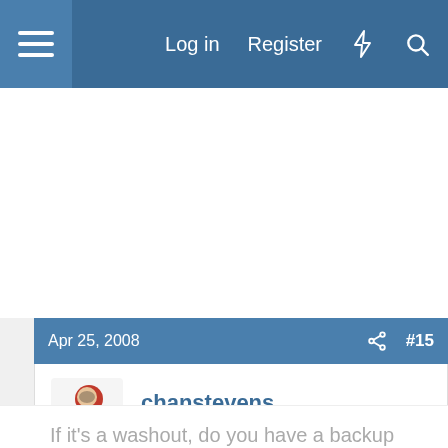Log in  Register
Apr 25, 2008  #15
chanstevens
Well-Known Member
If it's a washout, do you have a backup date?